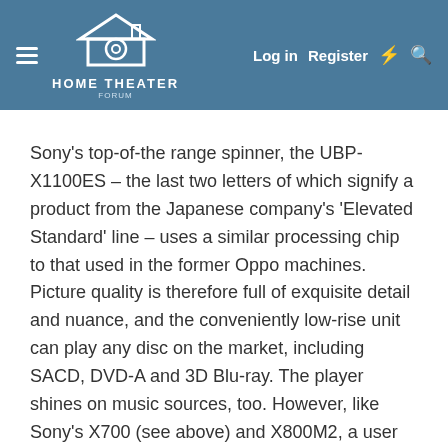Home Theater Forum — Log in | Register
Sony's top-of-the range spinner, the UBP-X1100ES – the last two letters of which signify a product from the Japanese company's 'Elevated Standard' line – uses a similar processing chip to that used in the former Oppo machines. Picture quality is therefore full of exquisite detail and nuance, and the conveniently low-rise unit can play any disc on the market, including SACD, DVD-A and 3D Blu-ray. The player shines on music sources, too. However, like Sony's X700 (see above) and X800M2, a user must still manually select Dolby Vision. This could become a headache over time given that some UHD discs do not always include the logo on packaging.